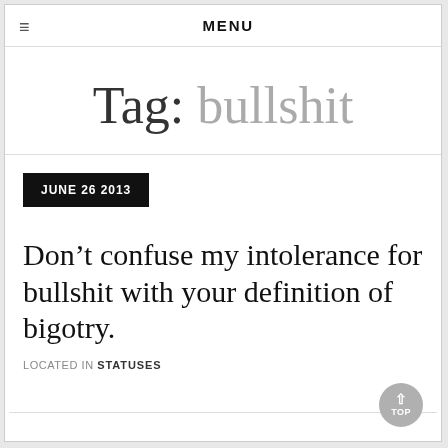MENU
Tag: bullshit
JUNE 26 2013
Don’t confuse my intolerance for bullshit with your definition of bigotry.
LOCATED IN STATUSES